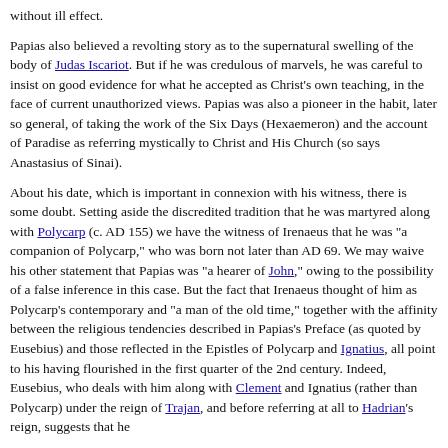without ill effect.
Papias also believed a revolting story as to the supernatural swelling of the body of Judas Iscariot. But if he was credulous of marvels, he was careful to insist on good evidence for what he accepted as Christ's own teaching, in the face of current unauthorized views. Papias was also a pioneer in the habit, later so general, of taking the work of the Six Days (Hexaemeron) and the account of Paradise as referring mystically to Christ and His Church (so says Anastasius of Sinai).
About his date, which is important in connexion with his witness, there is some doubt. Setting aside the discredited tradition that he was martyred along with Polycarp (c. AD 155) we have the witness of Irenaeus that he was "a companion of Polycarp," who was born not later than AD 69. We may waive his other statement that Papias was "a hearer of John," owing to the possibility of a false inference in this case. But the fact that Irenaeus thought of him as Polycarp's contemporary and "a man of the old time," together with the affinity between the religious tendencies described in Papias's Preface (as quoted by Eusebius) and those reflected in the Epistles of Polycarp and Ignatius, all point to his having flourished in the first quarter of the 2nd century. Indeed, Eusebius, who deals with him along with Clement and Ignatius (rather than Polycarp) under the reign of Trajan, and before referring at all to Hadrian's reign, suggests that he